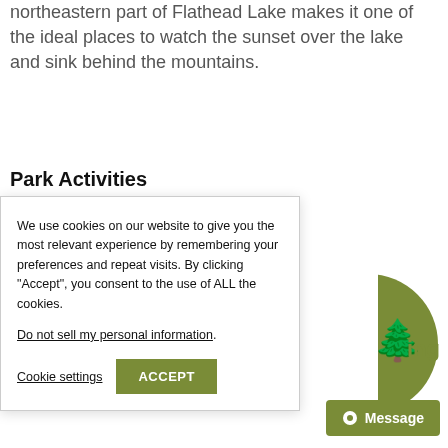northeastern part of Flathead Lake makes it one of the ideal places to watch the sunset over the lake and sink behind the mountains.
Park Activities
We use cookies on our website to give you the most relevant experience by remembering your preferences and repeat visits. By clicking “Accept”, you consent to the use of ALL the cookies.

Do not sell my personal information.
Cookie settings  ACCEPT
ing
Message